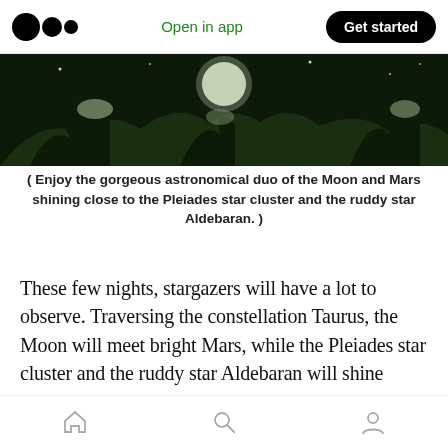Open in app | Get started
[Figure (photo): Dark night-sky photo showing frost-covered trees and foliage silhouetted against a dark sky, with a bright moon visible]
( Enjoy the gorgeous astronomical duo of the Moon and Mars shining close to the Pleiades star cluster and the ruddy star Aldebaran. )
These few nights, stargazers will have a lot to observe. Traversing the constellation Taurus, the Moon will meet bright Mars, while the Pleiades star cluster and the ruddy star Aldebaran will shine close to the astronomical duo. In today's article, we'll tell you how and when to see these brilliant celestial objects and the beautiful
Home | Search | Profile